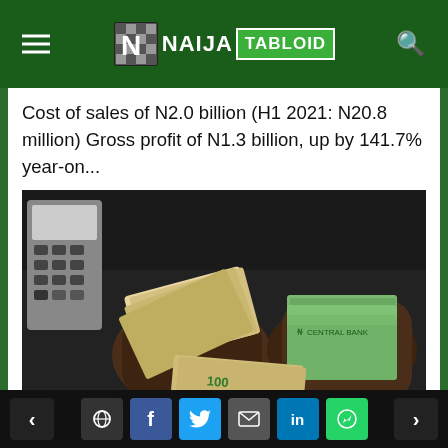NAIJA TABLOID
Cost of sales of N2.0 billion (H1 2021: N20.8 million) Gross profit of N1.3 billion, up by 141.7% year-on...
[Figure (photo): Hands holding stacks of Nigerian naira and US dollar banknotes with a calculator visible in the background]
BUSINESS